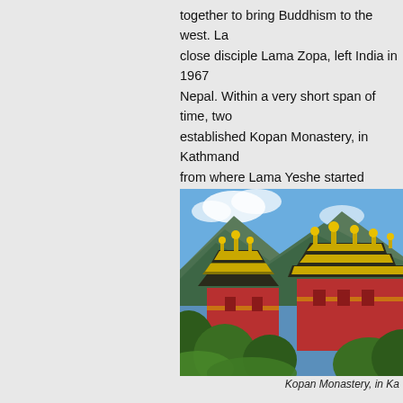together to bring Buddhism to the west. La... close disciple Lama Zopa, left India in 1967... Nepal. Within a very short span of time, two... established Kopan Monastery, in Kathmand... from where Lama Yeshe started spreading... westerners who visited Nepal. They first be... Month Meditation Course' held in Kopan.
[Figure (photo): Photograph of Kopan Monastery showing traditional Tibetan Buddhist architecture with golden ornamental spires on multi-tiered red roofs, surrounded by green trees, with blue mountains and sky in the background.]
Kopan Monastery, in Ka...